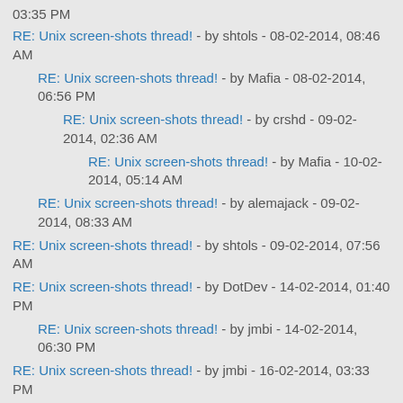03:35 PM
RE: Unix screen-shots thread! - by shtols - 08-02-2014, 08:46 AM
RE: Unix screen-shots thread! - by Mafia - 08-02-2014, 06:56 PM
RE: Unix screen-shots thread! - by crshd - 09-02-2014, 02:36 AM
RE: Unix screen-shots thread! - by Mafia - 10-02-2014, 05:14 AM
RE: Unix screen-shots thread! - by alemajack - 09-02-2014, 08:33 AM
RE: Unix screen-shots thread! - by shtols - 09-02-2014, 07:56 AM
RE: Unix screen-shots thread! - by DotDev - 14-02-2014, 01:40 PM
RE: Unix screen-shots thread! - by jmbi - 14-02-2014, 06:30 PM
RE: Unix screen-shots thread! - by jmbi - 16-02-2014, 03:33 PM
RE: Unix screen-shots thread! - by cyberpunkz - 17-02-2014, 03:07 PM
RE: Unix screen-shots thread! - by kirby - 17-02-2014, 05:25